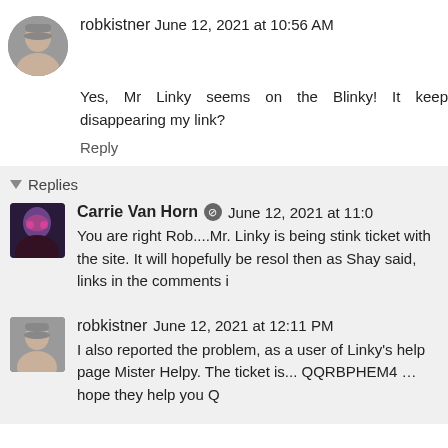robkistner June 12, 2021 at 10:56 AM
Yes, Mr Linky seems on the Blinky! It keep disappearing my link?
Reply
Replies
Carrie Van Horn June 12, 2021 at 11:0
You are right Rob....Mr. Linky is being stink ticket with the site. It will hopefully be resol then as Shay said, links in the comments i
robkistner June 12, 2021 at 12:11 PM
I also reported the problem, as a user of Linky's help page Mister Helpy. The ticket is... QQRBPHEM4 …hope they help you Q